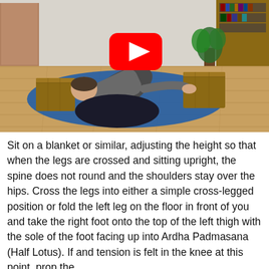[Figure (photo): A person performing a yoga forward bend pose on a blue mat on a hardwood floor, using two wooden yoga blocks. A YouTube play button overlay is visible in the upper center of the image. The room has bookshelves and plants in the background.]
Sit on a blanket or similar, adjusting the height so that when the legs are crossed and sitting upright, the spine does not round and the shoulders stay over the hips. Cross the legs into either a simple cross-legged position or fold the left leg on the floor in front of you and take the right foot onto the top of the left thigh with the sole of the foot facing up into Ardha Padmasana (Half Lotus). If and tension is felt in the knee at this point, prop the